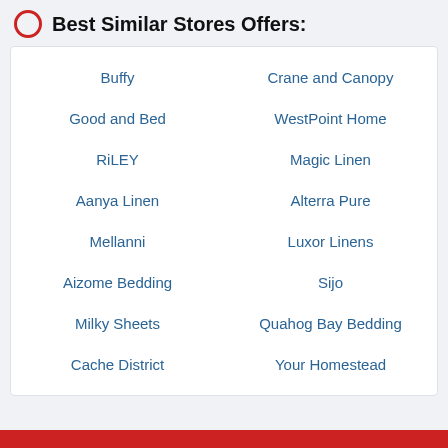Best Similar Stores Offers:
Buffy
Crane and Canopy
Good and Bed
WestPoint Home
RiLEY
Magic Linen
Aanya Linen
Alterra Pure
Mellanni
Luxor Linens
Aizome Bedding
Sijo
Milky Sheets
Quahog Bay Bedding
Cache District
Your Homestead